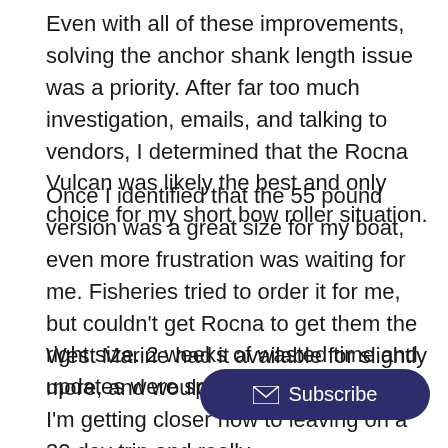Even with all of these improvements, solving the anchor shank length issue was a priority. After far too much investigation, emails, and talking to vendors, I determined that the Rocna Vulcan was likely the best and only choice for my short bow roller situation.
Once I identified that the 55 pound version was a great size for my boat, even more frustration was waiting for me. Fisheries tried to order it for me, but couldn’t get Rocna to get them the right size. 2 weeks of wasted time and updates were spent there.
West Marine had it available for slightly more, and would ship it very quickly – I’m getting closer now to leaving on a 30 day trip and really d…d new untested anchor without some…e first anchor was lost by UPS (how in the hell do you